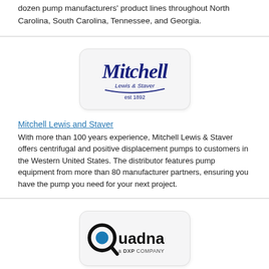dozen pump manufacturers' product lines throughout North Carolina, South Carolina, Tennessee, and Georgia.
[Figure (logo): Mitchell Lewis and Staver logo — script lettering 'Mitchell' in dark navy blue with 'Lewis & Staver' and 'est 1892' text, on a light gray rounded rectangle background]
Mitchell Lewis and Staver
With more than 100 years experience, Mitchell Lewis & Staver offers centrifugal and positive displacement pumps to customers in the Western United States. The distributor features pump equipment from more than 80 manufacturer partners, ensuring you have the pump you need for your next project.
[Figure (logo): Quadna logo — black Q with blue circle, bold black text 'Quadna' with 'a DXP COMPANY' below, on a light gray rounded rectangle]
Quadna, Inc.
Quadna, Inc. is a leading US distributor of industrial pumps and